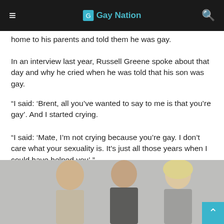Gay Nation
home to his parents and told them he was gay.
In an interview last year, Russell Greene spoke about that day and why he cried when he was told that his son was gay.
“I said: ‘Brent, all you’ve wanted to say to me is that you’re gay’. And I started crying.
“I said: ‘Mate, I’m not crying because you’re gay. I don’t care what your sexuality is. It’s just all those years when I could have helped you’.”
[Figure (photo): Three people posing together — two men and a woman, indoor setting]